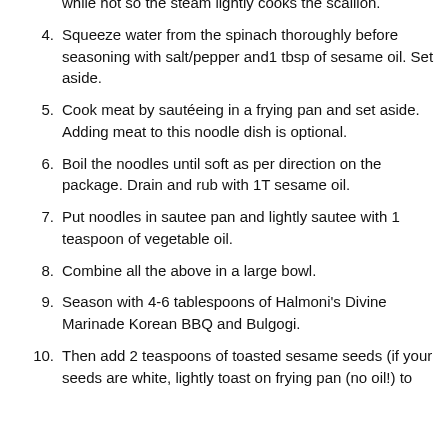while hot so the steam lightly cooks the scallion.
4. Squeeze water from the spinach thoroughly before seasoning with salt/pepper and1 tbsp of sesame oil. Set aside.
5. Cook meat by sautéeing in a frying pan and set aside. Adding meat to this noodle dish is optional.
6. Boil the noodles until soft as per direction on the package. Drain and rub with 1T sesame oil.
7. Put noodles in sautee pan and lightly sautee with 1 teaspoon of vegetable oil.
8. Combine all the above in a large bowl.
9. Season with 4-6 tablespoons of Halmoni's Divine Marinade Korean BBQ and Bulgogi.
10. Then add 2 teaspoons of toasted sesame seeds (if your seeds are white, lightly toast on frying pan (no oil!) to